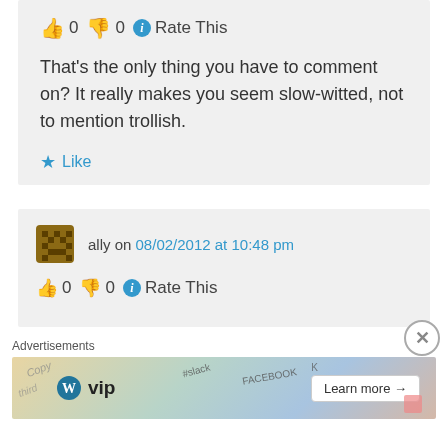👍 0 👎 0 ℹ️ Rate This
That's the only thing you have to comment on? It really makes you seem slow-witted, not to mention trollish.
★ Like
ally on 08/02/2012 at 10:48 pm
👍 0 👎 0 ℹ️ Rate This
Advertisements
[Figure (other): WordPress VIP advertisement banner with 'Learn more →' button and colorful background with app icons]